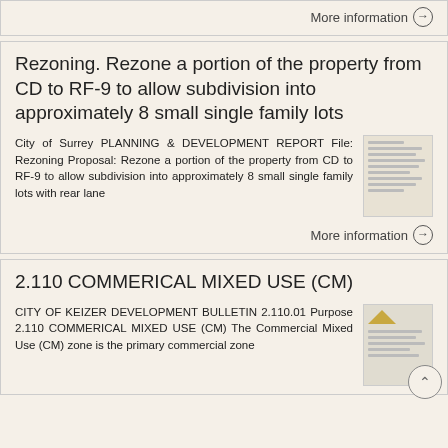More information →
Rezoning. Rezone a portion of the property from CD to RF-9 to allow subdivision into approximately 8 small single family lots
City of Surrey PLANNING & DEVELOPMENT REPORT File: Rezoning Proposal: Rezone a portion of the property from CD to RF-9 to allow subdivision into approximately 8 small single family lots with rear lane
More information →
2.110 COMMERICAL MIXED USE (CM)
CITY OF KEIZER DEVELOPMENT BULLETIN 2.110.01 Purpose 2.110 COMMERICAL MIXED USE (CM) The Commercial Mixed Use (CM) zone is the primary commercial zone